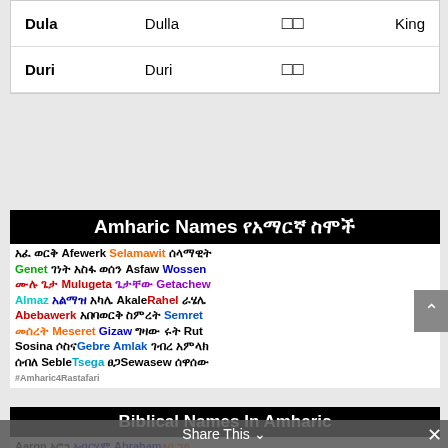|  |  |  |  |
| --- | --- | --- | --- |
| Dula | Dulla | □□ | King |
| Duri | Duri | □□ |  |
[Figure (infographic): Amharic Names infographic showing various Amharic names in colorful text on white background with black header banner reading 'Amharic Names የአማርኛ ስሞች'. Names include Afewerk, Selamawit, Genet, Asfaw Wossen, Mulugeta, Getachew, Almaz, Akale, Rahel, Abebawerk, Semret, Meseret, Gizaw, Rut, Sosina, Gebre Amlak, Seble, Tsega, Sewasew and their Amharic script equivalents. Hashtag #Amharic4Rastafari.]
[Figure (infographic): Biblical Names In Amharic infographic with black header banner. Names shown include Aaron, Abraham, Abijah, Cyrus, Cush, Abigail, Benaiah, David, Bethuel, Deborah and their Amharic script equivalents in various colors.]
Share This